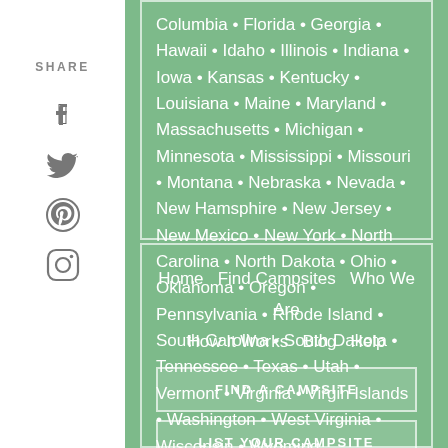Columbia • Florida • Georgia • Hawaii • Idaho • Illinois • Indiana • Iowa • Kansas • Kentucky • Louisiana • Maine • Maryland • Massachusetts • Michigan • Minnesota • Mississippi • Missouri • Montana • Nebraska • Nevada • New Hamsphire • New Jersey • New Mexico • New York • North Carolina • North Dakota • Ohio • Oklahoma • Oregon • Pennsylvania • Rhode Island • South Carolina • South Dakota • Tennessee • Texas • Utah • Vermont • Virginia • Virgin Islands • Washington • West Virginia • Wisconsin • Wyoming
[Figure (infographic): Social media share sidebar with icons for Facebook, Twitter, Pinterest, and Instagram, labeled SHARE]
Home   Find Campsites   Who We Are   How It Works   Blog   Help
FIND A CAMPSITE
LIST YOUR CAMPSITE